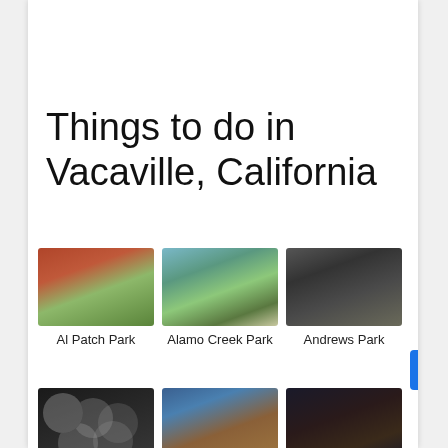Things to do in Vacaville, California
[Figure (photo): Al Patch Park - aerial/ground view of red running track with trees and green field]
[Figure (photo): Alamo Creek Park - tree-lined park with green grass and open sky]
[Figure (photo): Andrews Park - dark architectural structure with glass and metal exterior]
Al Patch Park
Alamo Creek Park
Andrews Park
[Figure (photo): Beat the Room - An Escape: dark room with circular clock/disc decorations on wall]
[Figure (photo): Beelard Park - playground equipment with blue poles on sandy ground]
[Figure (photo): Candy Cane Lane - night view with colorful lights and signage]
Beat the Room - An Escape
Beelard Park
Candy Cane Lane